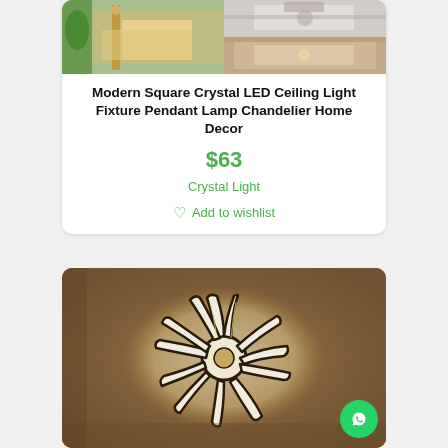[Figure (photo): Product listing card for a crystal LED ceiling light fixture with collage of room photos at top]
Modern Square Crystal LED Ceiling Light Fixture Pendant Lamp Chandelier Home Decor
$63
Crystal Light
Add to wishlist
[Figure (photo): Coral/splash-shaped LED ceiling light fixture mounted on brown ceiling, glowing white light]